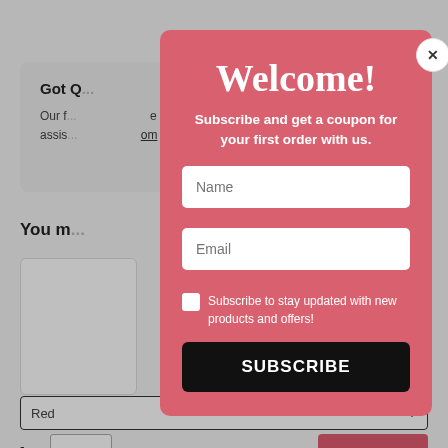Got Q...
Our f... ...e to assist... ...om
You m...
[Figure (screenshot): Background e-commerce webpage partially visible behind a modal popup, showing 'Got Q...' heading, body text with underlined link, 'You m...' section header, product cards, a Red color dropdown, a quantity input and add-to-cart button.]
Welcome!
Subscribe and get a coupon for your first order with us.
Name
Email
Subscribe to stay updated with new products and offers!
SUBSCRIBE